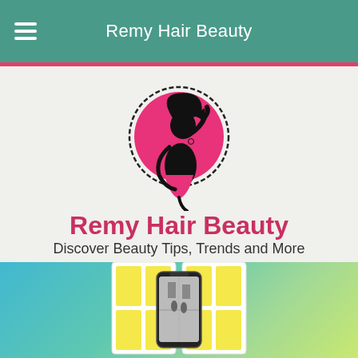Remy Hair Beauty
[Figure (logo): Remy Hair Beauty logo: black silhouette of a woman with flowing hair inside a pink circle with decorative lace border]
Remy Hair Beauty
Discover Beauty Tips, Trends and More
[Figure (illustration): Illustration of open yellow-paned white windows with a smartphone in the center showing a black-and-white street scene, set against a teal/green gradient background]